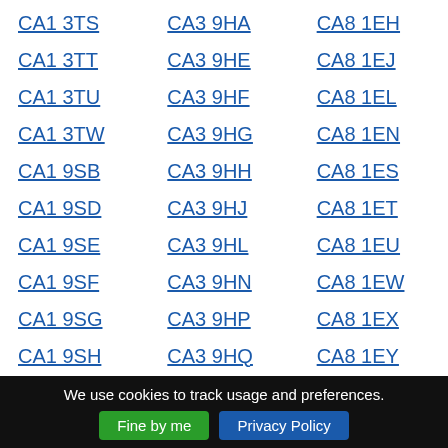CA1 3TS
CA1 3TT
CA1 3TU
CA1 3TW
CA1 9SB
CA1 9SD
CA1 9SE
CA1 9SF
CA1 9SG
CA1 9SH
CA1 9SJ
CA1 9SL
CA1 9SN
CA3 9HA
CA3 9HE
CA3 9HF
CA3 9HG
CA3 9HH
CA3 9HJ
CA3 9HL
CA3 9HN
CA3 9HP
CA3 9HQ
CA3 9HR
CA3 9HS
CA3 9HT
CA8 1EH
CA8 1EJ
CA8 1EL
CA8 1EN
CA8 1ES
CA8 1ET
CA8 1EU
CA8 1EW
CA8 1EX
CA8 1EY
CA8 1EZ
CA8 1GH
CA8 1HA
We use cookies to track usage and preferences.
Fine by me
Privacy Policy